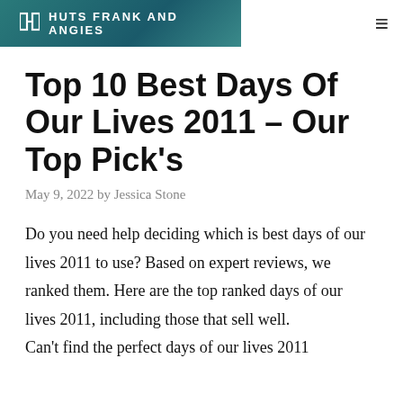HUTS FRANK AND ANGIES
Top 10 Best Days Of Our Lives 2011 – Our Top Pick's
May 9, 2022 by Jessica Stone
Do you need help deciding which is best days of our lives 2011 to use? Based on expert reviews, we ranked them. Here are the top ranked days of our lives 2011, including those that sell well. Can't find the perfect days of our lives 2011